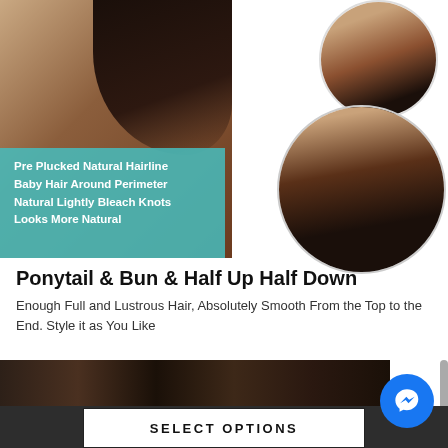[Figure (photo): Left side: large photo of a Black woman in profile showing a short natural hairstyle with a pearl earring. Bottom left area has a teal overlay box with white bold text listing hair wig features. Right side: two circular photos — top circle shows a woman's face/hair from above, bottom circle shows a woman looking down with straight black hair cascading over her head.]
Ponytail & Bun & Half Up Half Down
Enough Full and Lustrous Hair, Absolutely Smooth From the Top to the End. Style it as You Like
[Figure (photo): Partial bottom strip showing dark black hair extensions/bundles laid on a wooden surface.]
SELECT OPTIONS